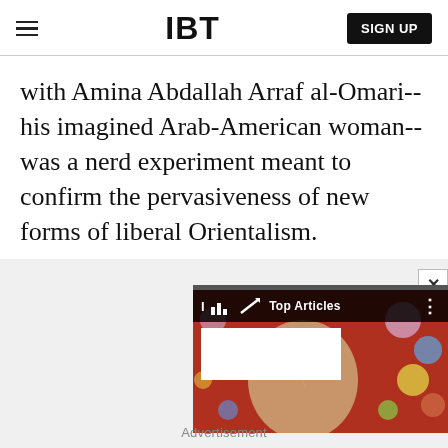IBT | SIGN UP
with Amina Abdallah Arraf al-Omari-- his imagined Arab-American woman-- was a nerd experiment meant to confirm the pervasiveness of new forms of liberal Orientalism.
[Figure (screenshot): Advertisement area with a video widget overlay showing a colorful image (David Bowie-like figure) with a dark bar labeled 'Top Articles' and IBT logo, a close (X) button, and an 'Advertisement' label below.]